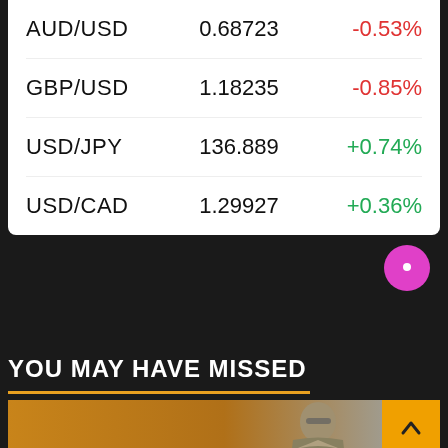| Pair | Rate | Change |
| --- | --- | --- |
| AUD/USD | 0.68723 | -0.53% |
| GBP/USD | 1.18235 | -0.85% |
| USD/JPY | 136.889 | +0.74% |
| USD/CAD | 1.29927 | +0.36% |
YOU MAY HAVE MISSED
[Figure (photo): Photo of Lady Justice statue holding scales with gold coins, against an orange background]